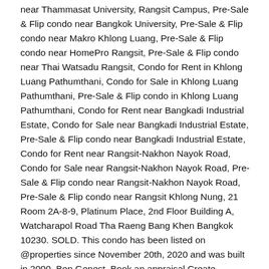near Thammasat University, Rangsit Campus, Pre-Sale & Flip condo near Bangkok University, Pre-Sale & Flip condo near Makro Khlong Luang, Pre-Sale & Flip condo near HomePro Rangsit, Pre-Sale & Flip condo near Thai Watsadu Rangsit, Condo for Rent in Khlong Luang Pathumthani, Condo for Sale in Khlong Luang Pathumthani, Pre-Sale & Flip condo in Khlong Luang Pathumthani, Condo for Rent near Bangkadi Industrial Estate, Condo for Sale near Bangkadi Industrial Estate, Pre-Sale & Flip condo near Bangkadi Industrial Estate, Condo for Rent near Rangsit-Nakhon Nayok Road, Condo for Sale near Rangsit-Nakhon Nayok Road, Pre-Sale & Flip condo near Rangsit-Nakhon Nayok Road, Pre-Sale & Flip condo near Rangsit Khlong Nung, 21 Room 2A-8-9, Platinum Place, 2nd Floor Building A, Watcharapol Road Tha Raeng Bang Khen Bangkok 10230. SOLD. This condo has been listed on @properties since November 20th, 2020 and was built in 2000. Ben Genest. Book an appraisal Create property alert View all properties +44 (0)